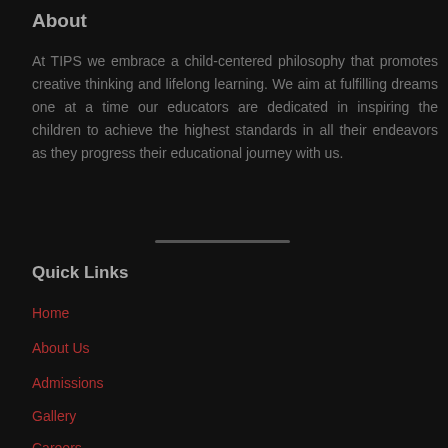About
At TIPS we embrace a child-centered philosophy that promotes creative thinking and lifelong learning. We aim at fulfilling dreams one at a time our educators are dedicated in inspiring the children to achieve the highest standards in all their endeavors as they progress their educational journey with us.
Quick Links
Home
About Us
Admissions
Gallery
Careers
Contact